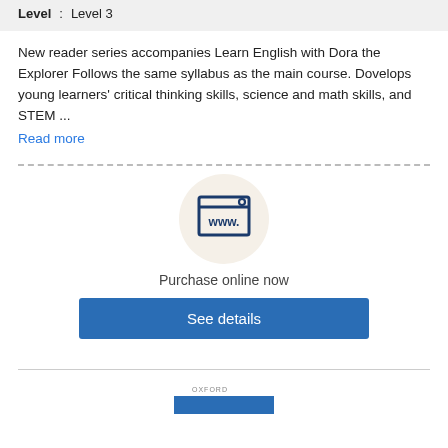| Level | : | Level 3 |
| --- | --- | --- |
New reader series accompanies Learn English with Dora the Explorer Follows the same syllabus as the main course. Dovelops young learners' critical thinking skills, science and math skills, and STEM ...
Read more
[Figure (illustration): Browser/WWW icon inside a beige circle representing online purchase option]
Purchase online now
See details
[Figure (illustration): Partial view of a book cover at the bottom of the page]